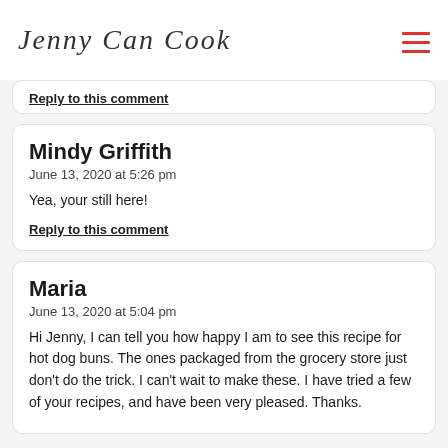Jenny Can Cook
Reply to this comment
Mindy Griffith
June 13, 2020 at 5:26 pm

Yea, your still here!

Reply to this comment
Maria
June 13, 2020 at 5:04 pm

Hi Jenny, I can tell you how happy I am to see this recipe for hot dog buns. The ones packaged from the grocery store just don't do the trick. I can't wait to make these. I have tried a few of your recipes, and have been very pleased. Thanks.